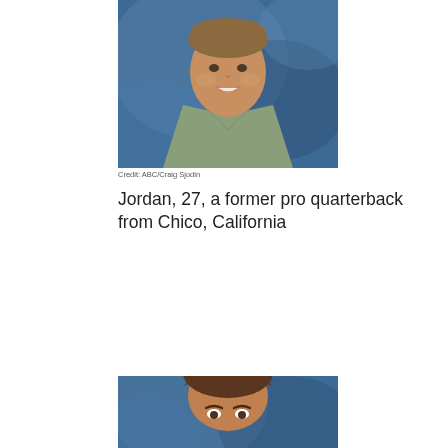[Figure (photo): Portrait photo of a smiling man in a sage green v-neck t-shirt against a blue mottled background]
Credit: ABC/Craig Sjodin
Jordan, 27, a former pro quarterback from Chico, California
[Figure (photo): Portrait photo of a man with brown hair against a blue mottled background (partially visible, cropped)]